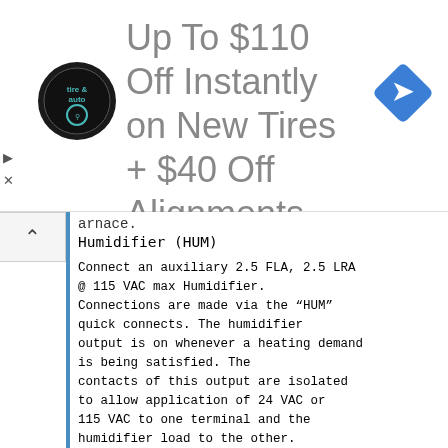[Figure (other): Advertisement banner: Virginia Tire & Auto logo, text 'Up To $110 Off Instantly on New Tires + $40 Off Alignments', blue diamond navigation icon]
arnace.
Humidifier (HUM)
Connect an auxiliary 2.5 FLA, 2.5 LRA @ 115 VAC max Humidifier. Connections are made via the “HUM” quick connects. The humidifier output is on whenever a heating demand is being satisfied. The contacts of this output are isolated to allow application of 24 VAC or 115 VAC to one terminal and the humidifier load to the other.
Electronic Air Cleaner (EAC)
Connect an auxiliary Electronic Air Cleaner; rating shall be max 1.0